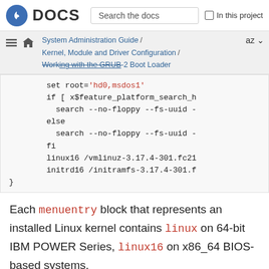Fedora DOCS | Search the docs | In this project
System Administration Guide / Kernel, Module and Driver Configuration / Working with the GRUB 2 Boot Loader
set root='hd0,msdos1'
    if [ x$feature_platform_search_h
      search --no-floppy --fs-uuid -
    else
      search --no-floppy --fs-uuid -
    fi
    linux16 /vmlinuz-3.17.4-301.fc21
    initrd16 /initramfs-3.17.4-301.f
}
Each menuentry block that represents an installed Linux kernel contains linux on 64-bit IBM POWER Series, linux16 on x86_64 BIOS-based systems,